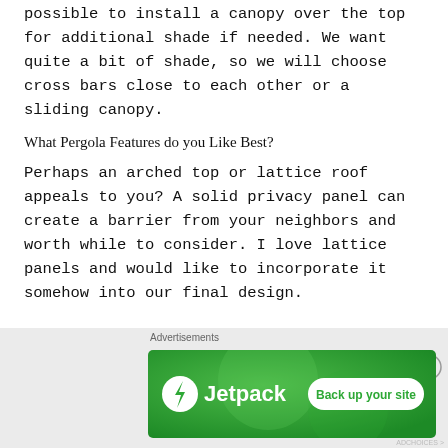possible to install a canopy over the top for additional shade if needed. We want quite a bit of shade, so we will choose cross bars close to each other or a sliding canopy.
What Pergola Features do you Like Best?
Perhaps an arched top or lattice roof appeals to you? A solid privacy panel can create a barrier from your neighbors and worth while to consider. I love lattice panels and would like to incorporate it somehow into our final design.
[Figure (screenshot): Jetpack advertisement banner with green background showing Jetpack logo and 'Back up your site' button]